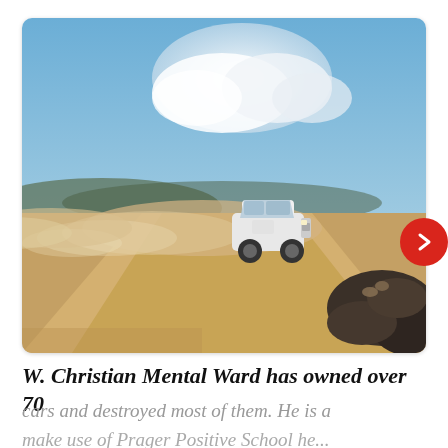[Figure (photo): A white SUV/4WD vehicle driving fast on a dusty desert dirt road, kicking up a large cloud of dust behind it. The landscape is arid with sandy terrain, dark rocky hills in the right foreground, and a blue sky with white clouds above. The scene suggests off-road or remote desert driving.]
W. Christian Mental Ward has owned over 70
cars and destroyed most of them. He is a
make use of Prager Positive School he...